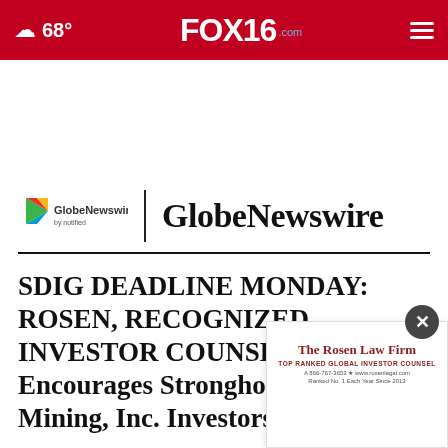68° FOX16.com
[Figure (logo): GlobeNewswire by notified logo with colorful play-button icon, vertical divider, and GlobeNewswire text]
SDIG DEADLINE MONDAY: ROSEN, RECOGNIZED INVESTOR COUNSEL, Encourages Stronghold Digital Mining, Inc. Investors to
[Figure (logo): The Rosen Law Firm advertisement overlay with close button, gold text on white background]